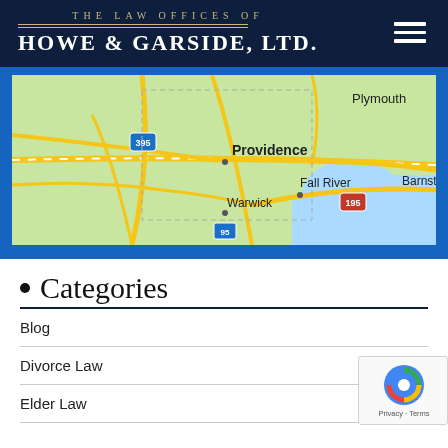THE LAW OFFICES OF HOWE & GARSIDE, LTD.
[Figure (map): Google Maps screenshot showing the Providence, RI area including Fall River, Warwick, Plymouth, Barnstable, with highways 395, 195 visible]
Categories
Blog
Divorce Law
Elder Law